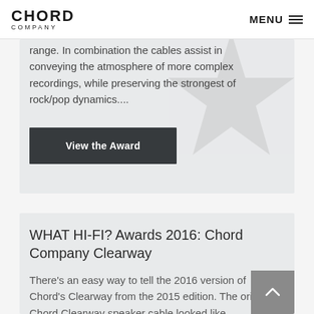CHORD COMPANY | MENU
range. In combination the cables assist in conveying the atmosphere of more complex recordings, while preserving the strongest of rock/pop dynamics....
View the Award
WHAT HI-FI? Awards 2016: Chord Company Clearway
There's an easy way to tell the 2016 version of Chord's Clearway from the 2015 edition. The original Chord Clearway speaker cable looked like